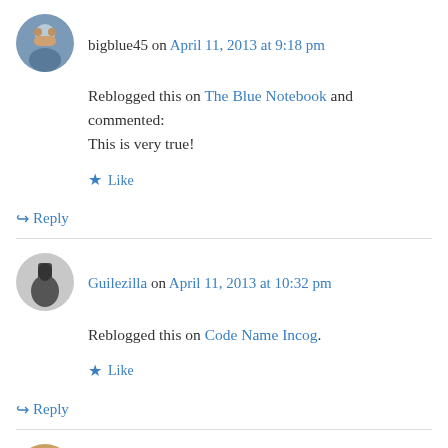bigblue45 on April 11, 2013 at 9:18 pm
Reblogged this on The Blue Notebook and commented:
This is very true!
Like
Reply
Guilezilla on April 11, 2013 at 10:32 pm
Reblogged this on Code Name Incog.
Like
Reply
miapower360 on April 11, 2013 at 10:43 pm